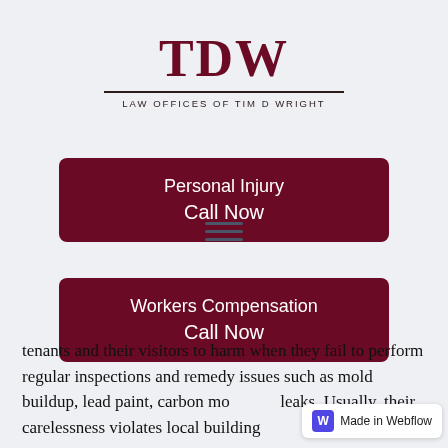[Figure (logo): TDW Law Offices of Tim D Wright logo with large serif TDW text and horizontal rule above smaller spaced subtitle text]
Personal Injury
Call Now
Workers Compensation
Call Now
[Figure (other): Hamburger menu icon with three horizontal lines]
tenants and their visitors to harm when they fail to perform regular inspections and remedy issues such as mold buildup, lead paint, carbon mo leaks. Usually, their carelessness violates local building
[Figure (other): Made in Webflow badge in bottom right corner]